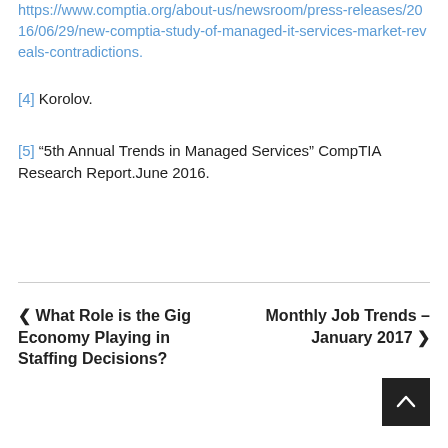https://www.comptia.org/about-us/newsroom/press-releases/2016/06/29/new-comptia-study-of-managed-it-services-market-reveals-contradictions.
[4] Korolov.
[5] “5th Annual Trends in Managed Services” CompTIA Research Report.June 2016.
‹ What Role is the Gig Economy Playing in Staffing Decisions?
Monthly Job Trends – January 2017 ›